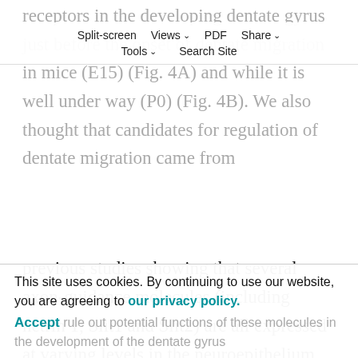receptors in the developing dentate gyrus just before the onset of dentate migration in mice (E15) (Fig. 4A) and while it is well under way (P0) (Fig. 4B). We also thought that candidates for regulation of dentate migration came from
Split-screen  Views  PDF  Share  Tools  Search Site
previous studies showing that several axon-guidance molecules (including netrin 1, Slit1 and Slit2) are all expressed at varying levels in the neuroepithelium that generates the dentate gyrus (Barallobre et al., 2000; Nguyen Ba-Charvet et al., 1999; Shu and Richards, 2001; Tuttle et al., 1999). We reasoned that these molecules would then be candidate chemorepellants that might drive migration toward the dentate anlage; however, we were unable to find any defects in dentate gyrus formation in
mouse mutants for netrin 1 (or its receptor – DCC) or Slit1/Slit2 double mutants (data not shown). Although this
This site uses cookies. By continuing to use our website, you are agreeing to our privacy policy.
Accept
rule out potential functions of these molecules in the development of the dentate gyrus, it does suggest that